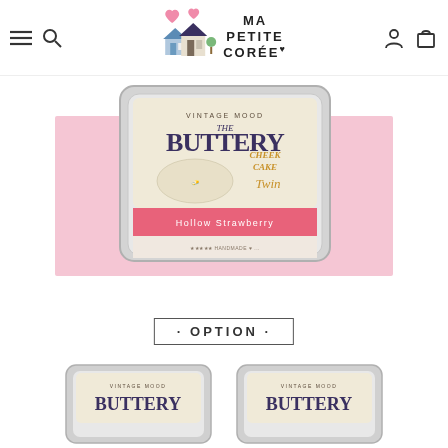[Figure (logo): Ma Petite Corée logo with illustrated Korean-style houses and hearts, navigation icons for menu, search, account, and cart]
[Figure (photo): The Buttery Cheek Cake Twin product in a silver tin, with a pink background section labeled 'Hollow Strawberry', vintage mood packaging]
· OPTION ·
[Figure (photo): Two thumbnail images of The Buttery product tins showing different variants side by side]